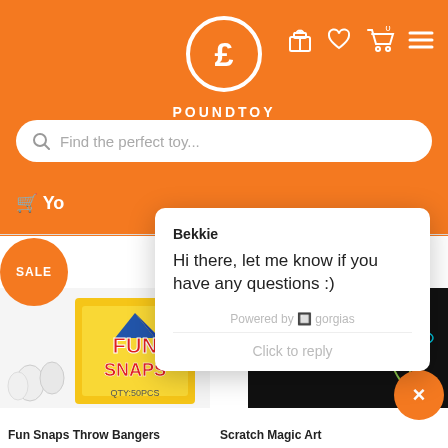[Figure (screenshot): PoundToy website header with orange background, pound sign logo in circle, POUNDTOY text, search bar, and navigation icons]
[Figure (screenshot): Chat popup from Bekkie: 'Hi there, let me know if you have any questions :)' powered by gorgias, with Click to reply field]
[Figure (photo): Fun Snaps Throw Bangers product image - yellow box with fun snaps and small white toy figures]
[Figure (photo): Scratch Magic Art product image - dark scratch art with colorful butterfly and dragonfly designs]
Fun Snaps Throw Bangers
Scratch Magic Art